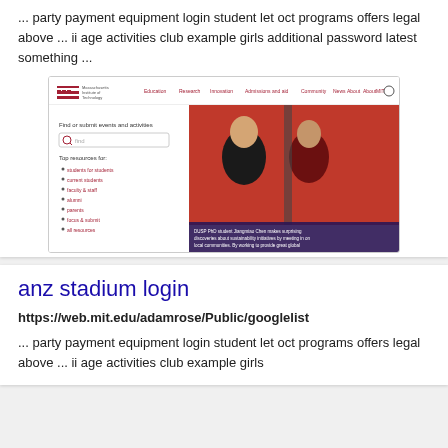... party payment equipment login student let oct programs offers legal above ... ii age activities club example girls additional password latest something ...
[Figure (screenshot): Screenshot of MIT website (web.mit.edu) showing navigation bar with MIT logo, menu items (Education, Research, Innovation, Admissions and aid, Community, News, About, AboutMIT), a search bar, and a hero image showing two people in front of a red background with text about a DUSP PhD student.]
anz stadium login
https://web.mit.edu/adamrose/Public/googlelist
... party payment equipment login student let oct programs offers legal above ... ii age activities club example girls